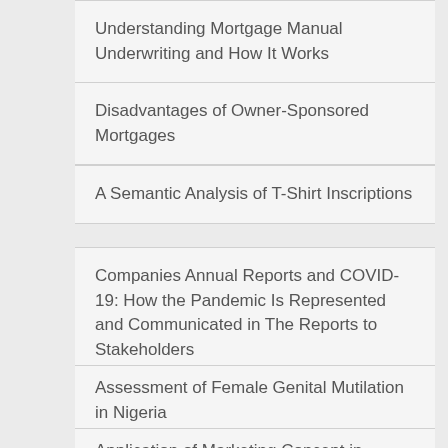Understanding Mortgage Manual Underwriting and How It Works
Disadvantages of Owner-Sponsored Mortgages
A Semantic Analysis of T-Shirt Inscriptions
Companies Annual Reports and COVID-19: How the Pandemic Is Represented and Communicated in The Reports to Stakeholders
Assessment of Female Genital Mutilation in Nigeria
Application of Marketing Concept in Commercial Banks